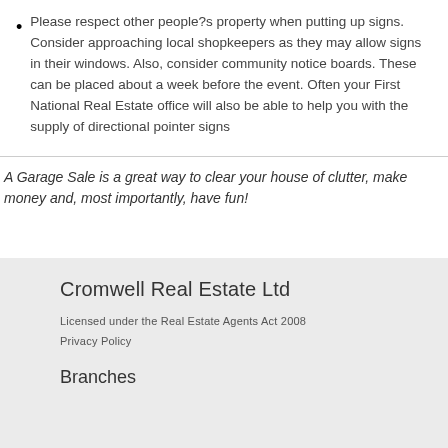Please respect other people?s property when putting up signs.  Consider approaching local shopkeepers as they may allow signs in their windows.  Also, consider community notice boards.  These can be placed about a week before the event.  Often your First National Real Estate office will also be able to help you with the supply of directional pointer signs
A Garage Sale is a great way to clear your house of clutter, make money and, most importantly, have fun!
Cromwell Real Estate Ltd
Licensed under the Real Estate Agents Act 2008
Privacy Policy
Branches